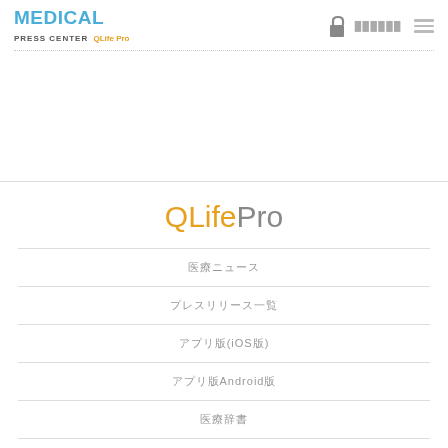MEDICAL PRESS CENTER QLife Pro
[Figure (logo): QLifePro logo in header with lock icon and menu icon]
QLifePro
医療ニュース
プレスリリース一覧
アプリ版(iOS版)
アプリ版Android版
医療辞書